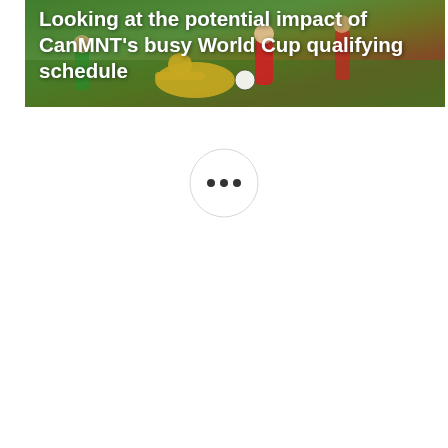[Figure (photo): Soccer/football players on a green field during a World Cup qualifying match, one player in yellow falling on the ground, another in red standing, action shot during a tackle]
Looking at the potential impact of CanMNT's busy World Cup qualifying schedule
[Figure (other): A circular button or icon with three horizontal dots (ellipsis/more options indicator) on a white background]